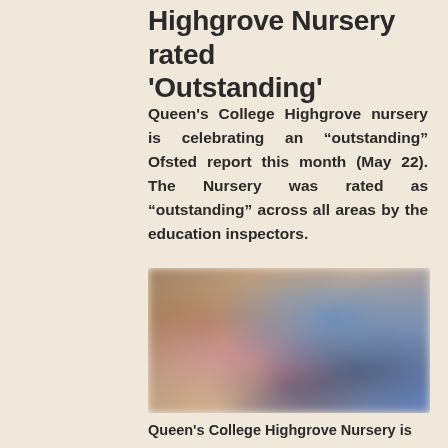Highgrove Nursery rated 'Outstanding'
Queen's College Highgrove nursery is celebrating an “outstanding” Ofsted report this month (May 22). The Nursery was rated as “outstanding” across all areas by the education inspectors.
[Figure (photo): Blurred photo of a nursery setting showing a child and an adult carer (wearing blue) engaged in play or learning activity on the floor]
Queen's College Highgrove Nursery is